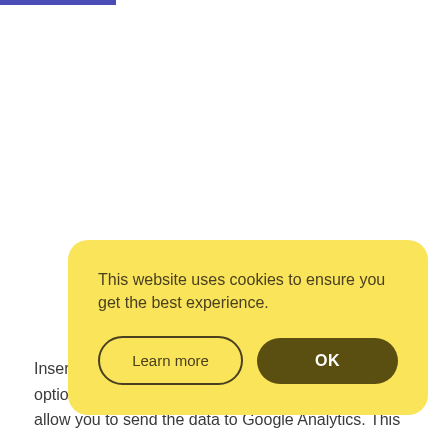[Figure (screenshot): Cookie consent popup overlay on a yellow rounded rectangle background. Contains text 'This website uses cookies to ensure you get the best experience.' with two buttons: 'Learn more' (outlined) and 'OK' (dark filled).]
Insert  his option  will allow you to send the data to Google Analytics. This